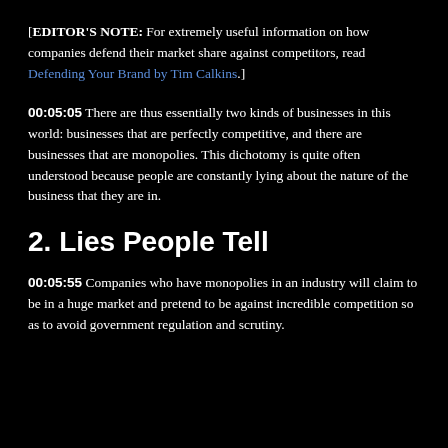[EDITOR'S NOTE: For extremely useful information on how companies defend their market share against competitors, read Defending Your Brand by Tim Calkins.]
00:05:05 There are thus essentially two kinds of businesses in this world: businesses that are perfectly competitive, and there are businesses that are monopolies. This dichotomy is quite often understood because people are constantly lying about the nature of the business that they are in.
2. Lies People Tell
00:05:55 Companies who have monopolies in an industry will claim to be in a huge market and pretend to be against incredible competition so as to avoid government regulation and scrutiny.